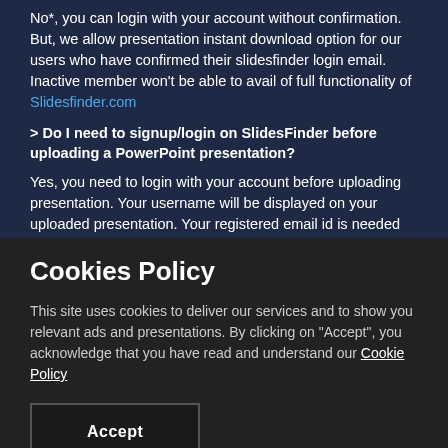No*, you can login with your account without confirmation. But, we allow presentation instant download option for our users who have confirmed their slidesfinder login email. Inactive member won't be able to avail of full functionality of Slidesfinder.com
> Do I need to signup/login on SlidesFinder before uploading a PowerPoint presentation?
Yes, you need to login with your account before uploading presentation. Your username will be displayed on your uploaded presentation. Your registered email id is needed for
Cookies Policy
This site uses cookies to deliver our services and to show you relevant ads and presentations. By clicking on "Accept", you acknowledge that you have read and understand our Cookie Policy
Accept